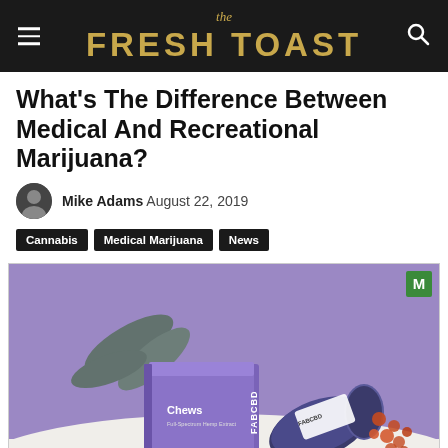the FRESH TOAST
What's The Difference Between Medical And Recreational Marijuana?
Mike Adams August 22, 2019
Cannabis
Medical Marijuana
News
[Figure (photo): A purple box of FAB CBD Chews dietary supplement with 25mg CBD per serving, next to a tipped-over blue jar with gummy chews spilling out, against a purple background with a plant leaf in the background.]